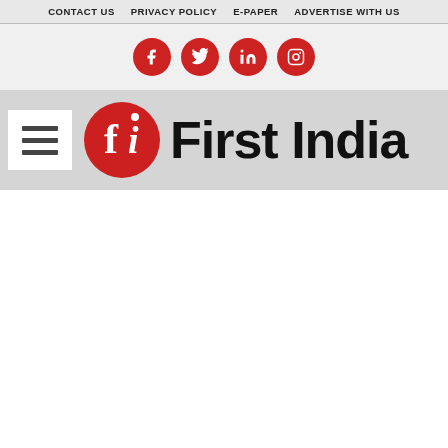CONTACT US  PRIVACY POLICY  E-PAPER  ADVERTISE WITH US
[Figure (logo): Social media icons row: Facebook, Twitter, LinkedIn, Instagram (red circles with white icons)]
[Figure (logo): First India news logo with hamburger menu button on left and First India branded logo (red circle with fi letters and bold text 'First India') on right]